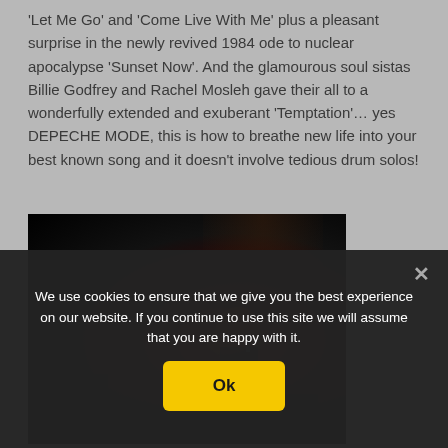'Let Me Go' and 'Come Live With Me' plus a pleasant surprise in the newly revived 1984 ode to nuclear apocalypse 'Sunset Now'. And the glamourous soul sistas Billie Godfrey and Rachel Mosleh gave their all to a wonderfully extended and exuberant 'Temptation'… yes DEPECHE MODE, this is how to breathe new life into your best known song and it doesn't involve tedious drum solos!
[Figure (photo): Concert photo showing a performer on stage with dramatic red/dark lighting, singing into a microphone, with dark background and stage atmosphere.]
We use cookies to ensure that we give you the best experience on our website. If you continue to use this site we will assume that you are happy with it.